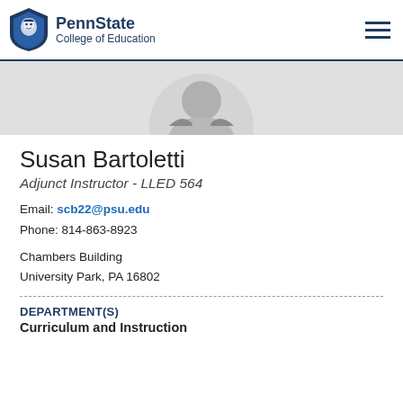PennState College of Education
[Figure (photo): Generic placeholder profile photo (gray silhouette circle)]
Susan Bartoletti
Adjunct Instructor - LLED 564
Email: scb22@psu.edu
Phone: 814-863-8923
Chambers Building
University Park, PA 16802
DEPARTMENT(S)
Curriculum and Instruction